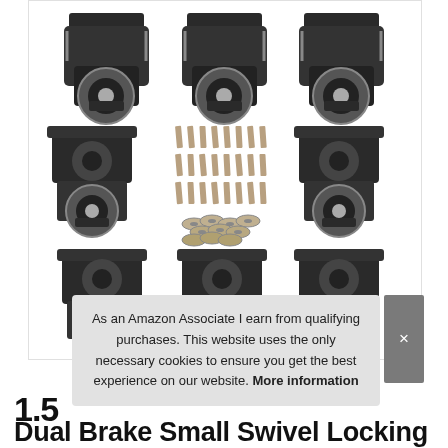[Figure (photo): Product photo showing six black dual-brake small swivel locking casters arranged in two rows of three, with a set of screws and washers displayed in the center of the image on a white background.]
As an Amazon Associate I earn from qualifying purchases. This website uses the only necessary cookies to ensure you get the best experience on our website. More information
1.5
Dual Brake Small Swivel Locking